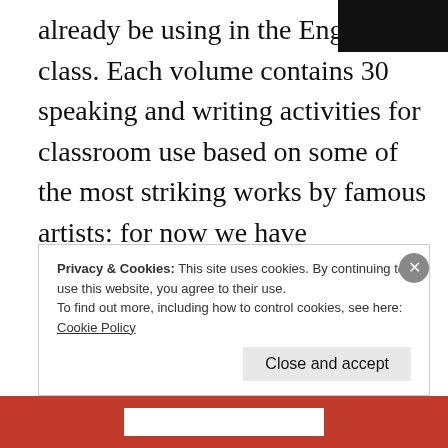already be using in the English class. Each volume contains 30 speaking and writing activities for classroom use based on some of the most striking works by famous artists: for now we have MATISSE, PICASSO, CARAVAGGIO, MONET, NORMAN ROCKWELL, WINSLOW HOMER, a special three-in-one volume of MONET + PICASSO + MATISSE (90 activities), and we've just launched VAN GOGH.
Privacy & Cookies: This site uses cookies. By continuing to use this website, you agree to their use.
To find out more, including how to control cookies, see here: Cookie Policy
Close and accept